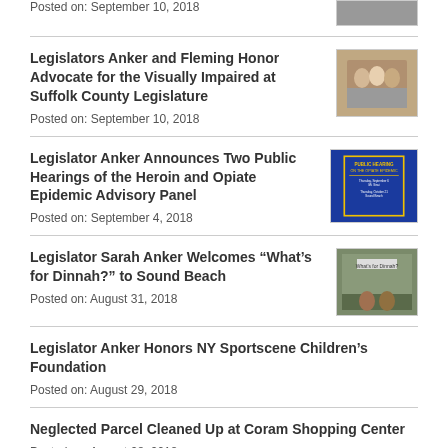Posted on: September 10, 2018
Legislators Anker and Fleming Honor Advocate for the Visually Impaired at Suffolk County Legislature
Posted on: September 10, 2018
Legislator Anker Announces Two Public Hearings of the Heroin and Opiate Epidemic Advisory Panel
Posted on: September 4, 2018
Legislator Sarah Anker Welcomes “What’s for Dinnah?” to Sound Beach
Posted on: August 31, 2018
Legislator Anker Honors NY Sportscene Children’s Foundation
Posted on: August 29, 2018
Neglected Parcel Cleaned Up at Coram Shopping Center
Posted on: August 28, 2018